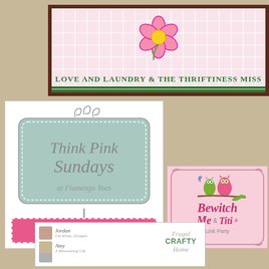[Figure (logo): Love and Laundry & The Thriftiness Miss banner with pink flower on patterned background]
[Figure (logo): Think Pink Sundays at Flamingo Toes with Get Your Party On button]
[Figure (logo): Bewitch Me & Titi Link Party badge with owls on pink background]
[Figure (logo): Bottom card with Jordan LilyWhite Designs, Amy A Blossoming Life, and Frugal Crafty Home logos]